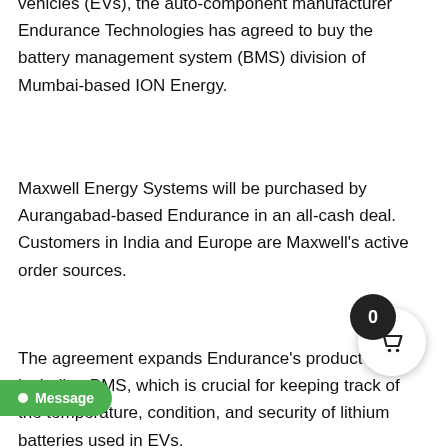vehicles (EVs), the auto-component manufacturer Endurance Technologies has agreed to buy the battery management system (BMS) division of Mumbai-based ION Energy.
Maxwell Energy Systems will be purchased by Aurangabad-based Endurance in an all-cash deal. Customers in India and Europe are Maxwell’s active order sources.
The agreement expands Endurance’s product line by including BMS, which is crucial for keeping track of the temperature, condition, and security of lithium batteries used in EVs.